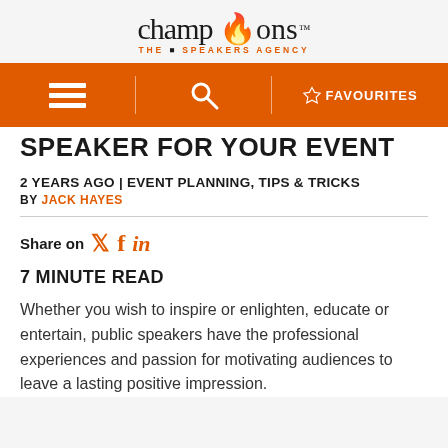[Figure (logo): Champions The Speakers Agency logo with orange flame on letter i]
[Figure (screenshot): Orange navigation bar with hamburger menu, search icon, and FAVOURITES star link]
SPEAKER FOR YOUR EVENT
2 YEARS AGO | EVENT PLANNING, TIPS & TRICKS
BY JACK HAYES
Share on [Twitter] [Facebook] [LinkedIn]
7 MINUTE READ
Whether you wish to inspire or enlighten, educate or entertain, public speakers have the professional experiences and passion for motivating audiences to leave a lasting positive impression.